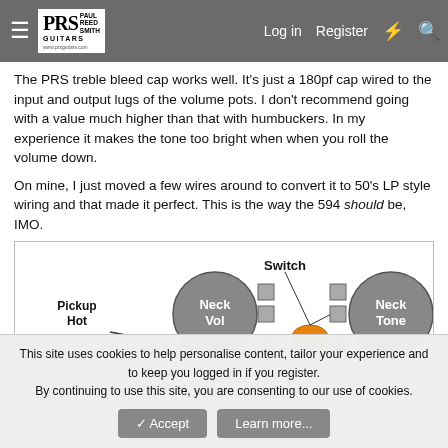PRS Paul Reed Smith Guitars — www.prsguitars.com | Log in | Register
The PRS treble bleed cap works well. It's just a 180pf cap wired to the input and output lugs of the volume pots. I don't recommend going with a value much higher than that with humbuckers. In my experience it makes the tone too bright when when you roll the volume down.
On mine, I just moved a few wires around to convert it to 50's LP style wiring and that made it perfect. This is the way the 594 should be, IMO.
[Figure (schematic): Guitar wiring diagram showing Neck Vol pot, Neck Tone pot, Switch, and Pickup Hot label. Gray circles represent pots, small squares represent lugs, an orange ellipse represents a capacitor or component, and a black circle represents a connection point.]
This site uses cookies to help personalise content, tailor your experience and to keep you logged in if you register. By continuing to use this site, you are consenting to our use of cookies.